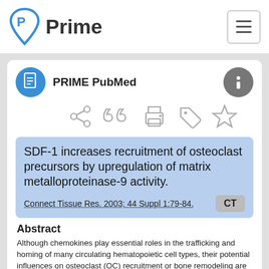[Figure (logo): Prime logo with stylized P icon and text 'Prime']
PRIME PubMed
SDF-1 increases recruitment of osteoclast precursors by upregulation of matrix metalloproteinase-9 activity.
Connect Tissue Res. 2003; 44 Suppl 1:79-84.
Abstract
Although chemokines play essential roles in the trafficking and homing of many circulating hematopoietic cell types, their potential influences on osteoclast (OC) recruitment or bone remodeling are not well known. Therefore, chemokine receptor expression was analyzed by RNase protection